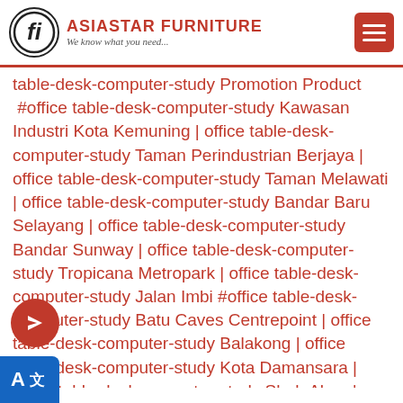ASIASTAR FURNITURE — We know what you need...
table-desk-computer-study Promotion Product #office table-desk-computer-study Kawasan Industri Kota Kemuning | office table-desk-computer-study Taman Perindustrian Berjaya | office table-desk-computer-study Taman Melawati | office table-desk-computer-study Bandar Baru Selayang | office table-desk-computer-study Bandar Sunway | office table-desk-computer-study Tropicana Metropark | office table-desk-computer-study Jalan Imbi #office table-desk-computer-study Batu Caves Centrepoint | office table-desk-computer-study Balakong | office table-desk-computer-study Kota Damansara | office table-desk-computer-study Shah Alam | office table-desk-computer-study Jalan Kuching | office table-desk-computer-study Bandar Tun Razak | office table-desk-computer-study Nai Entrepreneur Park | office table-desk-computer-study Seksyen 10 PJ | office table-desk-computer-study